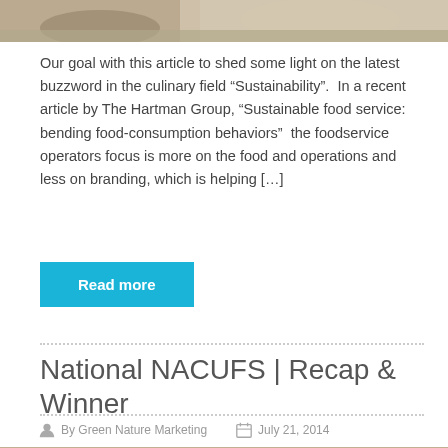[Figure (photo): Top portion of a photo showing people in a kitchen or food service setting]
Our goal with this article to shed some light on the latest buzzword in the culinary field “Sustainability”.  In a recent article by The Hartman Group, “Sustainable food service: bending food-consumption behaviors”  the foodservice operators focus is more on the food and operations and less on branding, which is helping […]
Read more
National NACUFS | Recap & Winner
By Green Nature Marketing   July 21, 2014
Comments are Disabled   Blog, Uncategorized
[Figure (photo): Photo showing people at what appears to be a trade show or conference booth]